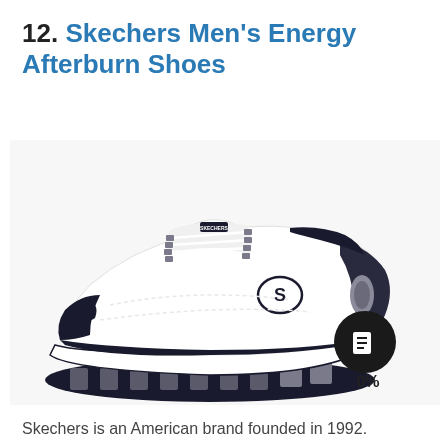12. Skechers Men's Energy Afterburn Shoes
[Figure (photo): Skechers Men's Energy Afterburn shoe in white with navy blue and gray accents, shown at an angle on a white background. The shoe features chunky sole, white laces, gray eyelets, and the Skechers 'S' logo on the side. A black circular badge with a document/list icon overlays the bottom-right area, and '0%' text appears below the badge.]
Skechers is an American brand founded in 1992.